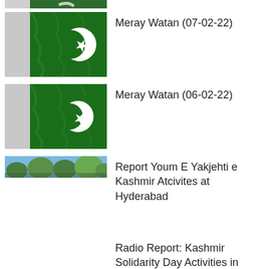[Figure (photo): Partial Pakistan flag image at top (cropped)]
Meray Watan (07-02-22)
Meray Watan (06-02-22)
Report Youm E Yakjehti e Kashmir Atcivites at Hyderabad
Radio Report: Kashmir Solidarity Day Activities in Mirpur AJ&K